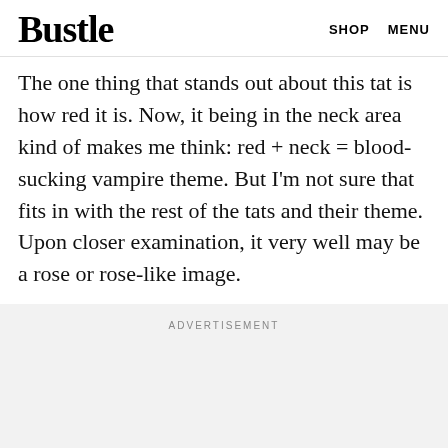Bustle  SHOP  MENU
The one thing that stands out about this tat is how red it is. Now, it being in the neck area kind of makes me think: red + neck = blood-sucking vampire theme. But I'm not sure that fits in with the rest of the tats and their theme. Upon closer examination, it very well may be a rose or rose-like image.
ADVERTISEMENT